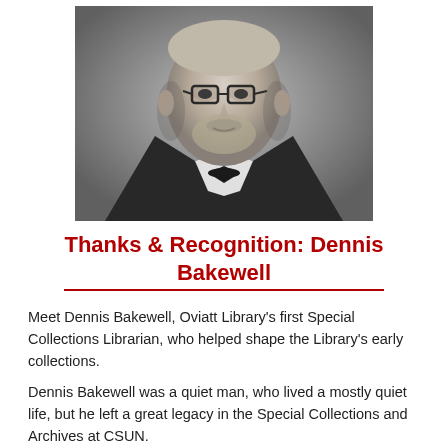[Figure (photo): Black and white portrait photograph of Dennis Bakewell, a middle-aged man wearing glasses and a bow tie, with a beard, dressed in a dark suit jacket.]
Thanks & Recognition: Dennis Bakewell
Meet Dennis Bakewell, Oviatt Library's first Special Collections Librarian, who helped shape the Library's early collections.
Dennis Bakewell was a quiet man, who lived a mostly quiet life, but he left a great legacy in the Special Collections and Archives at CSUN.